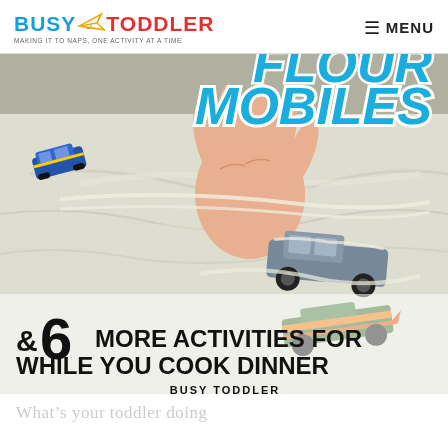BUSY TODDLER — MAKING IT TO NAPS, ONE ACTIVITY AT A TIME | MENU
[Figure (photo): A child's hand playing with toy cars (Hot Wheels) in flour/powder, with overlay text: 'MOBILES' in blue, '&6 MORE ACTIVITIES FOR WHILE YOU COOK DINNER' in black, 'BUSY TODDLER' credit]
partial text (faded/cut off at bottom of page)